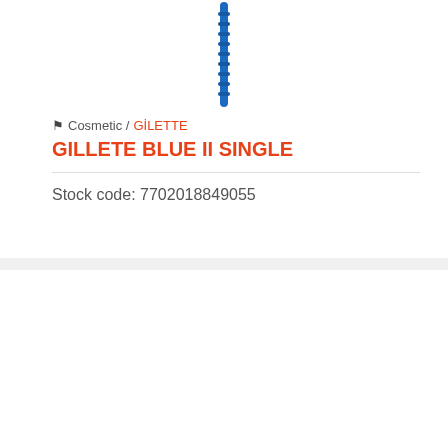[Figure (photo): Top portion of a blue Gillette disposable razor handle, cropped at the top of the card]
Cosmetic / GİLETTE
GILLETE BLUE II SINGLE
Stock code: 7702018849055
[Figure (photo): Gillette Blue II disposable razor 5-pack product packaging in blue with razors visible inside]